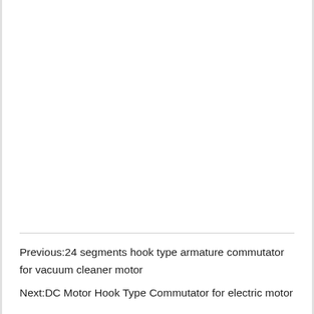Previous:24 segments hook type armature commutator for vacuum cleaner motor
Next:DC Motor Hook Type Commutator for electric motor